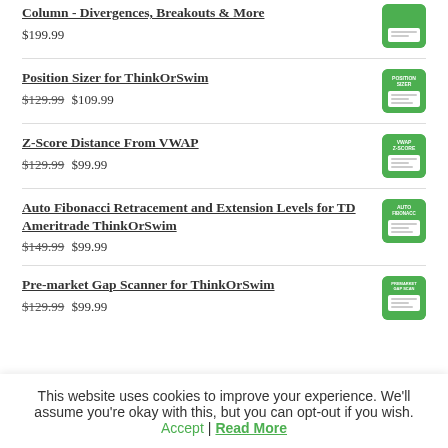Column - Divergences, Breakouts & More
$199.99
Position Sizer for ThinkOrSwim
$129.99 $109.99
Z-Score Distance From VWAP
$129.99 $99.99
Auto Fibonacci Retracement and Extension Levels for TD Ameritrade ThinkOrSwim
$149.99 $99.99
Pre-market Gap Scanner for ThinkOrSwim
$129.99 $99.99
This website uses cookies to improve your experience. We'll assume you're okay with this, but you can opt-out if you wish. Accept | Read More